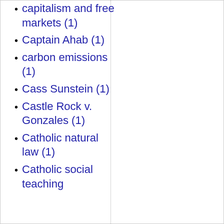capitalism and free markets (1)
Captain Ahab (1)
carbon emissions (1)
Cass Sunstein (1)
Castle Rock v. Gonzales (1)
Catholic natural law (1)
Catholic social teaching